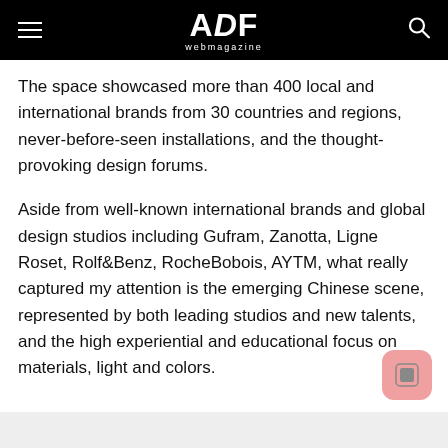ADF webmagazine
The space showcased more than 400 local and international brands from 30 countries and regions, never-before-seen installations, and the thought-provoking design forums.
Aside from well-known international brands and global design studios including Gufram, Zanotta, Ligne Roset, Rolf&Benz, RocheBobois, AYTM, what really captured my attention is the emerging Chinese scene, represented by both leading studios and new talents, and the high experiential and educational focus on materials, light and colors.